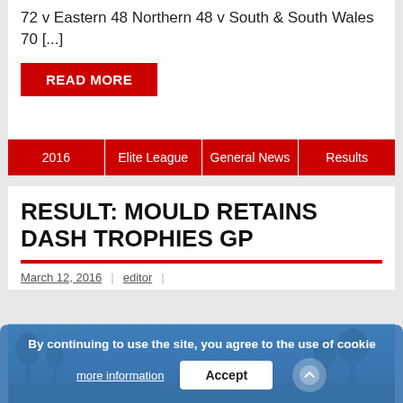72 v Eastern 48 Northern 48 v South & South Wales 70 [...]
READ MORE
2016
Elite League
General News
Results
RESULT: MOULD RETAINS DASH TROPHIES GP
March 12, 2016 | editor |
[Figure (photo): Outdoor scene with blue sky and trees, dark foreground with gate/fence visible]
By continuing to use the site, you agree to the use of cookies. more information   Accept